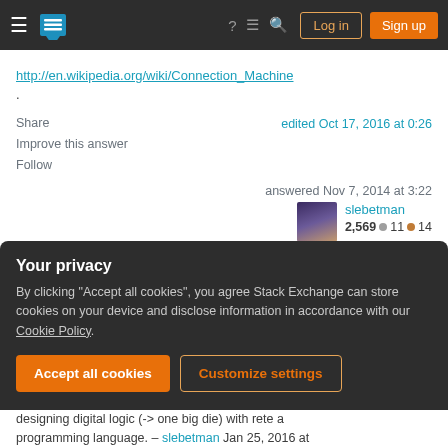Stack Exchange navigation bar with Log in and Sign up buttons
http://en.wikipedia.org/wiki/Connection_Machine.
Share
Improve this answer
Follow
edited Oct 17, 2016 at 0:26
answered Nov 7, 2014 at 3:22
slebetman
2,569 ● 11 ● 14
1 "where each task does very little but working together in parallel" sounds like Erlang. – Naftuli Kay Jan 25, 2016 at 18:43
Your privacy
By clicking "Accept all cookies", you agree Stack Exchange can store cookies on your device and disclose information in accordance with our Cookie Policy.
Accept all cookies   Customize settings
designing digital logic (-> one big die) with rete a programming language. – slebetman Jan 25, 2016 at